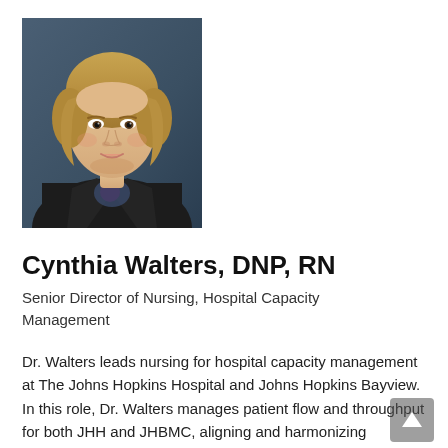[Figure (photo): Professional headshot of Cynthia Walters, a woman with blonde hair wearing a dark blazer, photographed against a blue-grey background.]
Cynthia Walters, DNP, RN
Senior Director of Nursing, Hospital Capacity Management
Dr. Walters leads nursing for hospital capacity management at The Johns Hopkins Hospital and Johns Hopkins Bayview. In this role, Dr. Walters manages patient flow and throughput for both JHH and JHBMC, aligning and harmonizing processes to provide greater efficiency and access. She also co-leads the Capacity Command Center with Jim Scheulen, Johns Hopkins